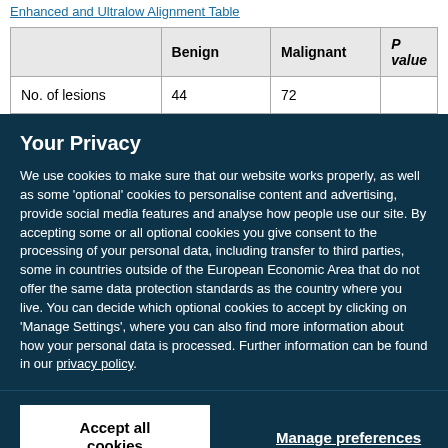Enhanced and Ultralow Alignment Table
|  | Benign | Malignant | P value |
| --- | --- | --- | --- |
| No. of lesions | 44 | 72 |  |
Your Privacy
We use cookies to make sure that our website works properly, as well as some 'optional' cookies to personalise content and advertising, provide social media features and analyse how people use our site. By accepting some or all optional cookies you give consent to the processing of your personal data, including transfer to third parties, some in countries outside of the European Economic Area that do not offer the same data protection standards as the country where you live. You can decide which optional cookies to accept by clicking on 'Manage Settings', where you can also find more information about how your personal data is processed. Further information can be found in our privacy policy.
Accept all cookies
Manage preferences